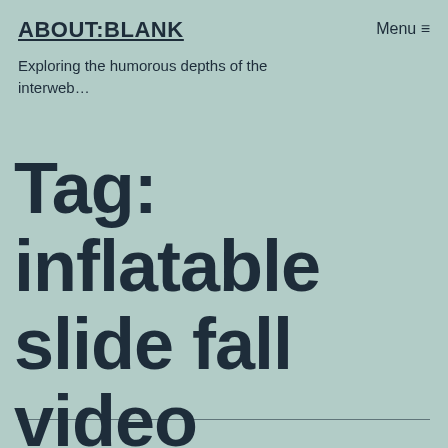ABOUT:BLANK
Exploring the humorous depths of the interweb…
Tag: inflatable slide fall video